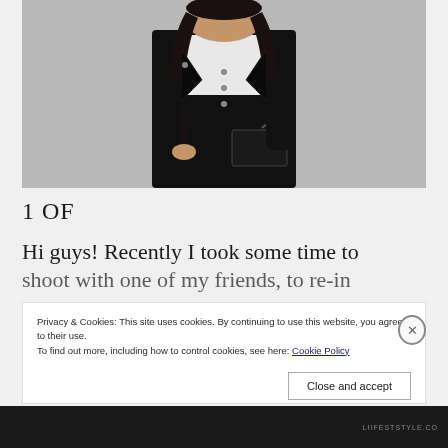[Figure (photo): Fashion photo of a woman with long dark hair wearing a black cropped denim jacket over a white turtleneck, black high-waist jeans, holding a dark clutch bag. Grey studio background.]
1 OF
Hi guys! Recently I took some time to shoot with one of my friends, to re-in...
Privacy & Cookies: This site uses cookies. By continuing to use this website, you agree to their use.
To find out more, including how to control cookies, see here: Cookie Policy
Close and accept